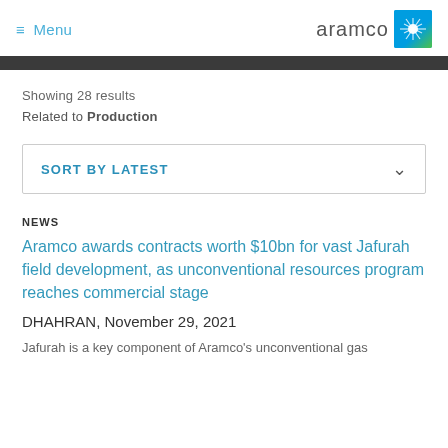≡ Menu  aramco
Showing 28 results
Related to Production
SORT BY LATEST
NEWS
Aramco awards contracts worth $10bn for vast Jafurah field development, as unconventional resources program reaches commercial stage
DHAHRAN, November 29, 2021
Jafurah is a key component of Aramco's unconventional gas